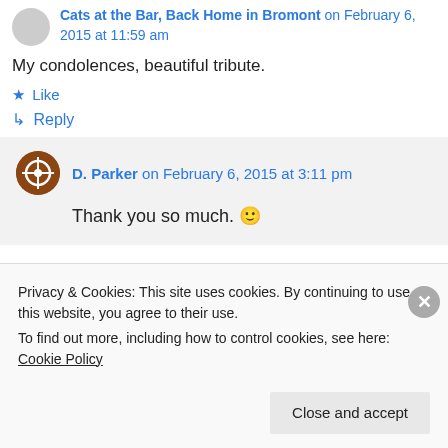Cats at the Bar, Back Home in Bromont on February 6, 2015 at 11:59 am
My condolences, beautiful tribute.
★ Like
↳ Reply
D. Parker on February 6, 2015 at 3:11 pm
Thank you so much. 🙂
Privacy & Cookies: This site uses cookies. By continuing to use this website, you agree to their use. To find out more, including how to control cookies, see here: Cookie Policy
Close and accept